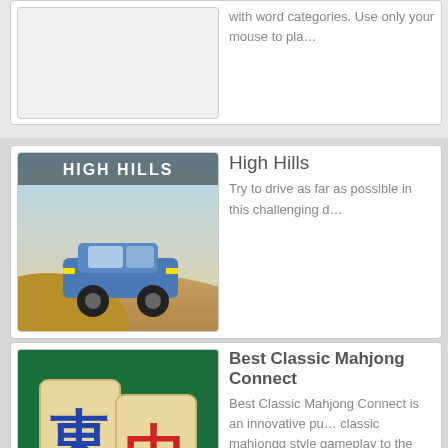with word categories. Use only your mouse to pla…
High Hills
Try to drive as far as possible in this challenging d…
Best Classic Mahjong Connect
Best Classic Mahjong Connect is an innovative pu… classic mahjongg style gameplay to the next level… of the game is remove all tokens from the board b… tiles. Connections can be made either in straight l…
HOME